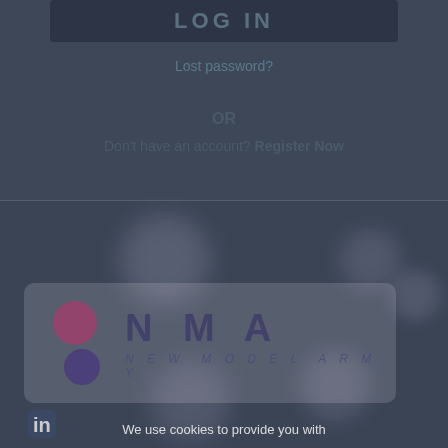[Figure (screenshot): Login button with 'LOG IN' text in dark container]
Lost password?
OR
Don't have an account? Register Now
[Figure (logo): New Model Army logo with pink and purple circles and stylized N M A letters with 'NEW MODEL ARMY' subtitle]
[Figure (logo): LinkedIn icon]
We use cookies to provide you with